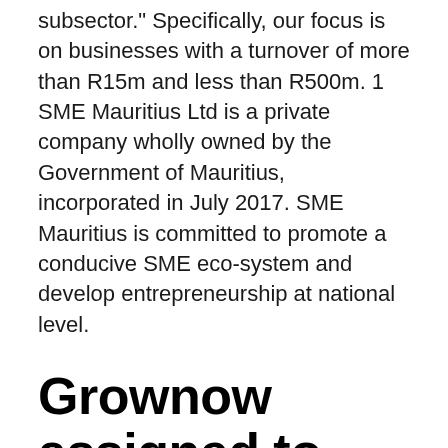subsector." Specifically, our focus is on businesses with a turnover of more than R15m and less than R500m. 1 SME Mauritius Ltd is a private company wholly owned by the Government of Mauritius, incorporated in July 2017. SME Mauritius is committed to promote a conducive SME eco-system and develop entrepreneurship at national level.
Grownow assigned to hold seminar in Business Model
SME helps manufacturers and the people of our industry grow, learn, and prosper. Small businesses